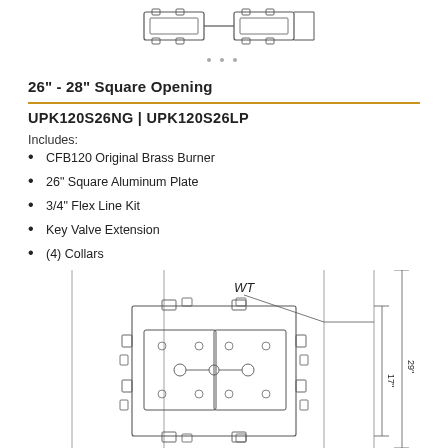[Figure (engineering-diagram): Top view of a burner assembly showing two burner units with connecting hardware, partially cropped at top of page]
26" - 28" Square Opening
UPK120S26NG | UPK120S26LP
Includes:
CFB120 Original Brass Burner
26" Square Aluminum Plate
3/4" Flex Line Kit
Key Valve Extension
(4) Collars
[Figure (engineering-diagram): Top-down technical drawing of a square burner assembly with WT label, showing the burner unit with mounting hardware, annotated with dimensions 17" and 29"]